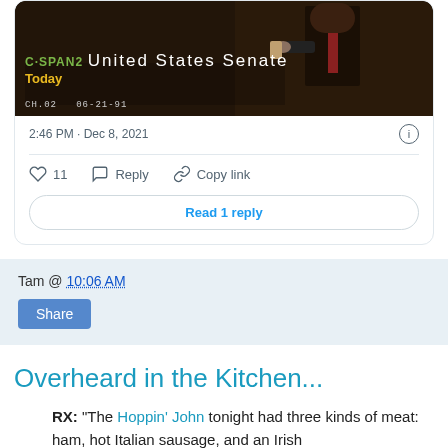[Figure (screenshot): C-SPAN2 United States Senate broadcast screenshot showing a person at a podium with text overlay: C-SPAN2 United States Senate, Today, CH.02, 06-21-91]
2:46 PM · Dec 8, 2021
11   Reply   Copy link
Read 1 reply
Tam @ 10:06 AM
Share
Overheard in the Kitchen...
RX: "The Hoppin' John tonight had three kinds of meat: ham, hot Italian sausage, and an Irish